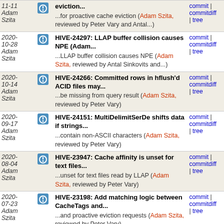| Date | Author | Commit | Links |
| --- | --- | --- | --- |
| 11-11 | Adam Szita | eviction...
...for proactive cache eviction (Adam Szita, reviewed by Peter Vary and Antal... | commit | commitdiff | tree |
| 2020-10-28 | Adam Szita | HIVE-24297: LLAP buffer collision causes NPE (Adam...
...LLAP buffer collision causes NPE (Adam Szita, reviewed by Antal Sinkovits and... | commit | commitdiff | tree |
| 2020-10-14 | Adam Szita | HIVE-24266: Committed rows in hflush'd ACID files may...
...be missing from query result (Adam Szita, reviewed by Peter Vary) | commit | commitdiff | tree |
| 2020-09-17 | Adam Szita | HIVE-24151: MultiDelimitSerDe shifts data if strings...
...contain non-ASCII characters (Adam Szita, reviewed by Peter Vary) | commit | commitdiff | tree |
| 2020-08-04 | Adam Szita | HIVE-23947: Cache affinity is unset for text files...
...unset for text files read by LLAP (Adam Szita, reviewed by Peter Vary) | commit | commitdiff | tree |
| 2020-07-23 | Adam Szita | HIVE-23198: Add matching logic between CacheTags and...
...and proactive eviction requests (Adam Szita, reviewed by Peter Vary) | commit | commitdiff | tree |
| 2020-07-14 | Adam Szita | HIVE-23824: LLAP - add API to look up ORC metadata...
...ORC metadata for certain Path (Adam Szita reviewed by Peter Vary) | commit | commitdiff | tree |
| 2020- | Adam Szita | HIVE-23729: LLAP text cache fails when | commit | commitdiff |